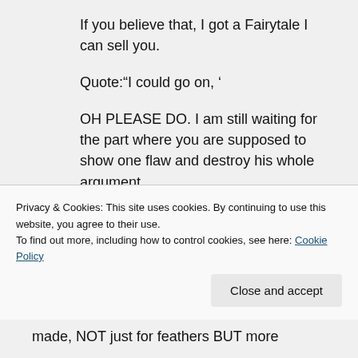If you believe that, I got a Fairytale I can sell you.
Quote:"I could go on, '
OH PLEASE DO. I am still waiting for the part where you are supposed to show one flaw and destroy his whole argument.
But you keep bringing up flaws in your understanding of his argument by
Privacy & Cookies: This site uses cookies. By continuing to use this website, you agree to their use. To find out more, including how to control cookies, see here: Cookie Policy
made, NOT just for feathers BUT more